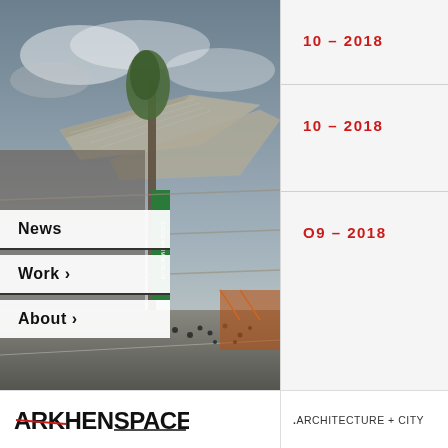[Figure (photo): Architectural rendering of a futuristic building with large lattice canopy structures, trees, signage banners reading 'GUGGENHEIM MUSEUM', and a busy street scene below with pedestrians and vehicles]
News
Work >
About >
10 – 2018
10 – 2018
O9 – 2018
[Figure (logo): ARKHENSPACES logo with strikethrough line across ARK, followed by HENSPACES]
.ARCHITECTURE + CITY